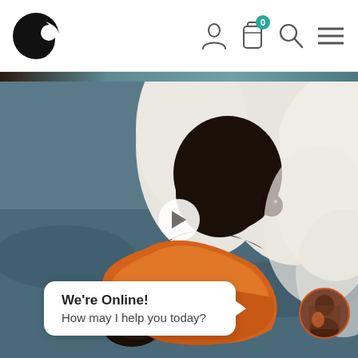[Figure (screenshot): Website navigation bar with a crescent-C logo on the left, and icons for user profile, shopping bag with badge showing '0', search, and hamburger menu on the right]
[Figure (photo): Close-up photo of a mute swan's head and beak, orange and black coloring, white feathers, blurred blue background, with a play button overlay indicating a video]
We're Online!
How may I help you today?